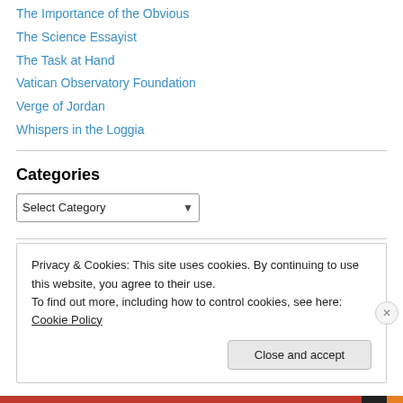The Importance of the Obvious
The Science Essayist
The Task at Hand
Vatican Observatory Foundation
Verge of Jordan
Whispers in the Loggia
Categories
Select Category
Privacy & Cookies: This site uses cookies. By continuing to use this website, you agree to their use.
To find out more, including how to control cookies, see here: Cookie Policy
Close and accept